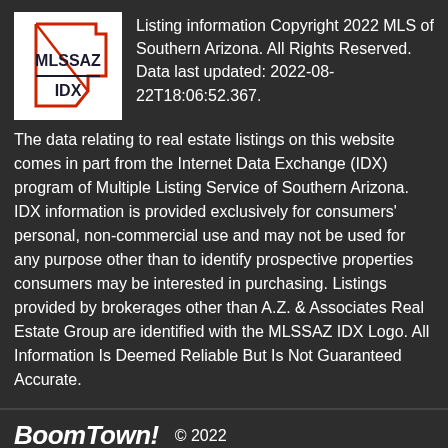[Figure (logo): MLSSAZ IDX logo — outline of Arizona state with red border and red diagonal stripe, text MLSSAZ above IDX]
Listing information Copyright 2022 MLS of Southern Arizona. All Rights Reserved. Data last updated: 2022-08-22T18:06:52.367.
The data relating to real estate listings on this website comes in part from the Internet Data Exchange (IDX) program of Multiple Listing Service of Southern Arizona. IDX information is provided exclusively for consumers' personal, non-commercial use and may not be used for any purpose other than to identify prospective properties consumers may be interested in purchasing. Listings provided by brokerages other than A.Z. & Associates Real Estate Group are identified with the MLSSAZ IDX Logo. All Information Is Deemed Reliable But Is Not Guaranteed Accurate.
BoomTown!  © 2022
Terms of Use | Privacy Policy | Accessibility | DMCA | Listings Sitemap
Take a Tour
Ask A Question